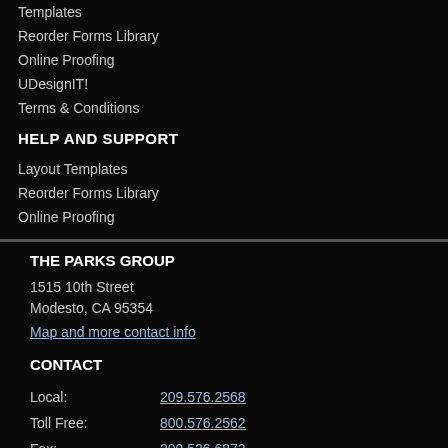Templates
Reorder Forms Library
Online Proofing
UDesignIT!
Terms & Conditions
HELP AND SUPPORT
Layout Templates
Reorder Forms Library
Online Proofing
THE PARKS GROUP
1515 10th Street
Modesto, CA 95354
Map and more contact info
CONTACT
Local: 209.576.2568
Toll Free: 800.576.2562
Fax: 209.526.6872
Email: